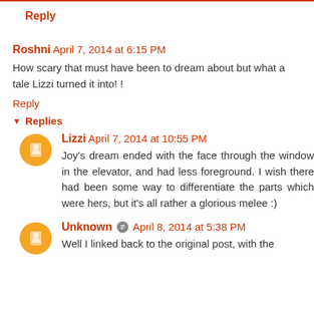Reply
Roshni  April 7, 2014 at 6:15 PM
How scary that must have been to dream about but what a tale Lizzi turned it into! !
Reply
Replies
Lizzi  April 7, 2014 at 10:55 PM
Joy's dream ended with the face through the window in the elevator, and had less foreground. I wish there had been some way to differentiate the parts which were hers, but it's all rather a glorious melee :)
Unknown  April 8, 2014 at 5:38 PM
Well I linked back to the original post, with the